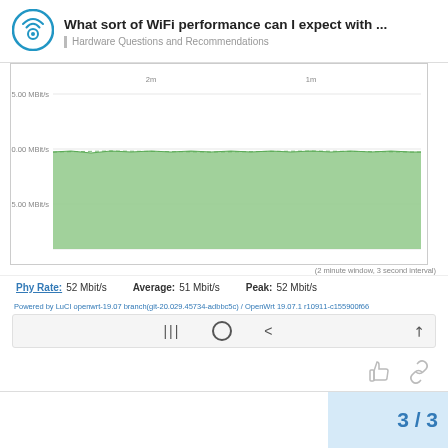What sort of WiFi performance can I expect with ... | Hardware Questions and Recommendations
[Figure (area-chart): Area chart showing roughly flat throughput around 60 Mbit/s over a 2-minute window with 3-second interval. Y-axis labels: 75.00 MBit/s, 60.00 MBit/s, 25.00 MBit/s. X-axis labels: 2m, 1m.]
(2 minute window, 3 second interval)
Phy Rate: 52 Mbit/s   Average: 51 Mbit/s   Peak: 52 Mbit/s
Powered by LuCI openwrt-19.07 branch(git-20.029.45734-adbbc5c) / OpenWrt 19.07.1 r10911-c155900f66
[Figure (screenshot): Mobile navigation bar with three icons: menu (|||), home circle (O), back arrow (<), and an expand/fullscreen icon.]
3 / 3
Reply
Suggested Topics